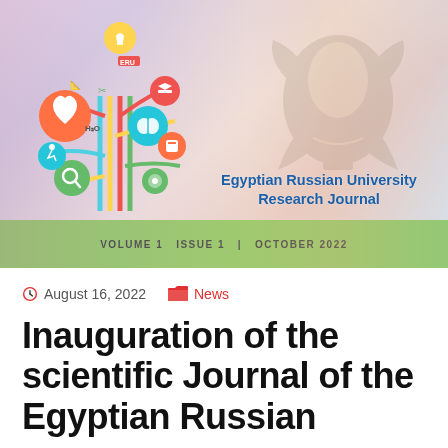[Figure (illustration): Egyptian Russian University Research Journal cover image showing a colorful knowledge tree with science/education icons on the left, the Egyptian flag motif with eagle watermark on the right, and a green bar reading VOLUME 1 ISSUE 1 | OCTOBER 2022]
August 16, 2022   News
Inauguration of the scientific Journal of the Egyptian Russian